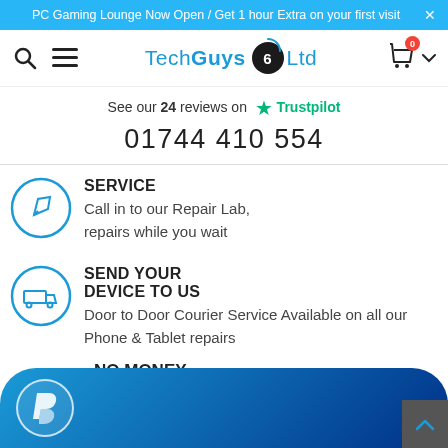PC Gaming Lounge Now Open / Get 1 hour Extra on your first visit ×
[Figure (logo): Tech Guys 6 Ltd logo with search and menu icons on left and shopping cart with 0 badge on right]
See our 24 reviews on ★ Trustpilot
01744 410 554
SERVICE
Call in to our Repair Lab, repairs while you wait
SEND YOUR DEVICE TO US
Door to Door Courier Service Available on all our Phone & Tablet repairs
[Figure (other): PayPal payment bar with PayPal P icon in circle at bottom of page]